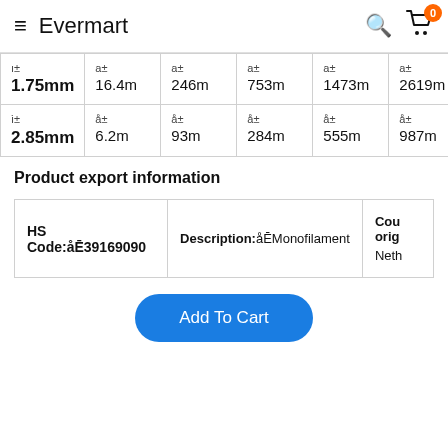Evermart
| Diameter | Col1 | Col2 | Col3 | Col4 | Col5 |
| --- | --- | --- | --- | --- | --- |
| ı± 1.75mm | a± 16.4m | a± 246m | a± 753m | a± 1473m | a± 2619m |
| ı̇± 2.85mm | å± 6.2m | å± 93m | å± 284m | å± 555m | å± 987m |
Product export information
| HS Code | Description | Country of origin |
| --- | --- | --- |
| HS Code:åĒ39169090 | Description:åĒMonofilament | Cou orig Neth |
Add To Cart